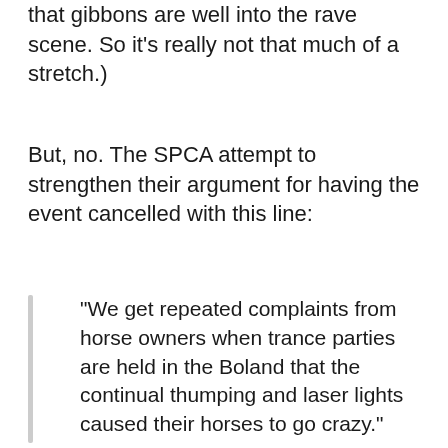that gibbons are well into the rave scene. So it’s really not that much of a stretch.)
But, no. The SPCA attempt to strengthen their argument for having the event cancelled with this line:
“We get repeated complaints from horse owners when trance parties are held in the Boland that the continual thumping and laser lights caused their horses to go crazy.”